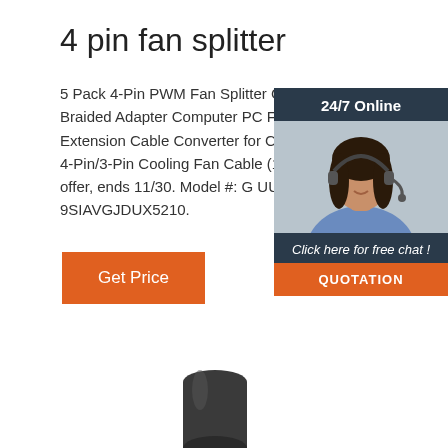4 pin fan splitter
5 Pack 4-Pin PWM Fan Splitter Cable, Sleeved Braided Adapter Computer PC Fan Power Extension Cable Converter for Computer A Case 4-Pin/3-Pin Cooling Fan Cable (10.6 Limited time offer, ends 11/30. Model #: G UUHH01. Item #: 9SIAVGJDUX5210.
[Figure (infographic): 24/7 Online customer support chat widget with woman wearing headset, 'Click here for free chat!' text, and orange QUOTATION button]
Get Price
[Figure (photo): Dark cylindrical product (fan splitter cable connector) partially visible at bottom of page]